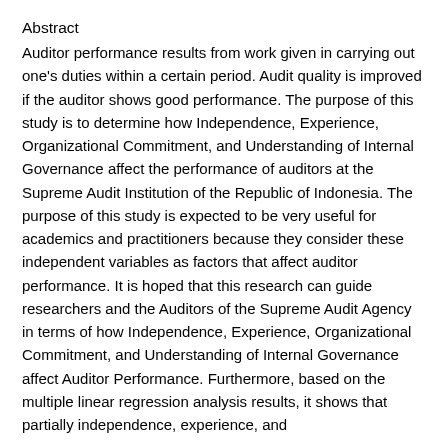Abstract
Auditor performance results from work given in carrying out one's duties within a certain period. Audit quality is improved if the auditor shows good performance. The purpose of this study is to determine how Independence, Experience, Organizational Commitment, and Understanding of Internal Governance affect the performance of auditors at the Supreme Audit Institution of the Republic of Indonesia. The purpose of this study is expected to be very useful for academics and practitioners because they consider these independent variables as factors that affect auditor performance. It is hoped that this research can guide researchers and the Auditors of the Supreme Audit Agency in terms of how Independence, Experience, Organizational Commitment, and Understanding of Internal Governance affect Auditor Performance. Furthermore, based on the multiple linear regression analysis results, it shows that partially independence, experience, and